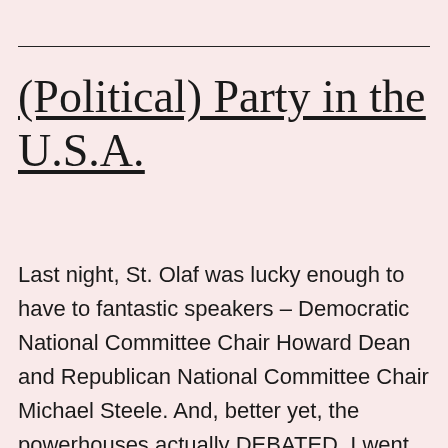(Political) Party in the U.S.A.
Last night, St. Olaf was lucky enough to have to fantastic speakers – Democratic National Committee Chair Howard Dean and Republican National Committee Chair Michael Steele. And, better yet, the powerhouses actually DEBATED.  I went in completely